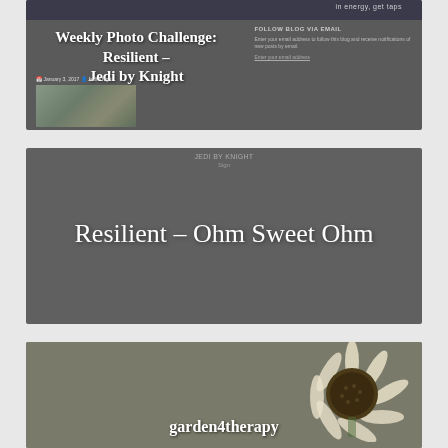[Figure (screenshot): Blog card showing 'Weekly Photo Challenge: Resilient – Jedi by Knight' with a dark header bar, meta information, thumbnail image on left side, and a follow blog sidebar on the right]
[Figure (screenshot): Blog card showing 'Resilient – Ohm Sweet Ohm' post with dark background and centered white title text, small header text at top]
[Figure (screenshot): Blog card showing 'garden4therapy' with sunflower image in background and title text at bottom center]